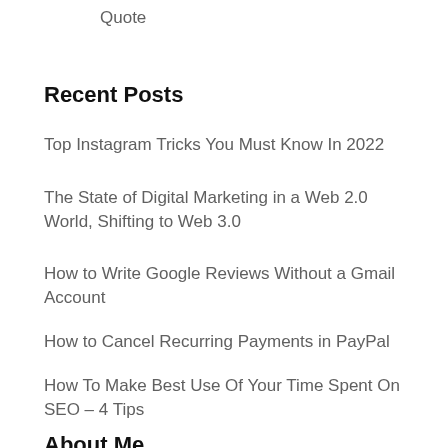Quote
Recent Posts
Top Instagram Tricks You Must Know In 2022
The State of Digital Marketing in a Web 2.0 World, Shifting to Web 3.0
How to Write Google Reviews Without a Gmail Account
How to Cancel Recurring Payments in PayPal
How To Make Best Use Of Your Time Spent On SEO – 4 Tips
About Me